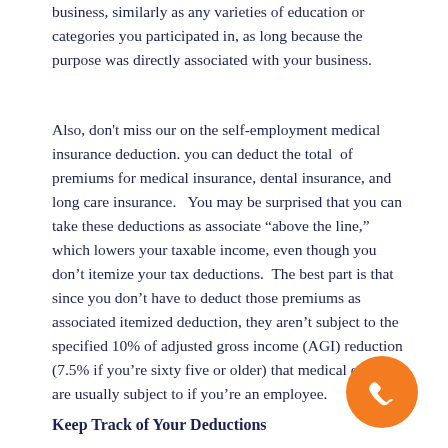business, similarly as any varieties of education or categories you participated in, as long because the purpose was directly associated with your business.
Also, don't miss our on the self-employment medical insurance deduction. you can deduct the total of premiums for medical insurance, dental insurance, and long care insurance.   You may be surprised that you can take these deductions as associate “above the line,”  which lowers your taxable income, even though you don't itemize your tax deductions.  The best part is that since you don't have to deduct those premiums as associated itemized deduction, they aren't subject to the specified 10% of adjusted gross income (AGI) reduction (7.5% if you're sixty five or older) that medical expenses are usually subject to if you're an employee.
[Figure (illustration): Orange circular phone/call icon in the bottom-right corner]
Keep Track of Your Deductions